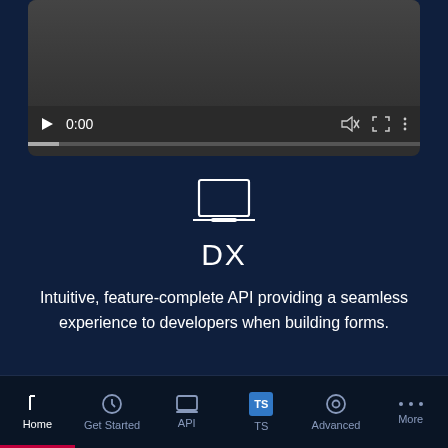[Figure (screenshot): Video player with dark background, play button, 0:00 time display, mute icon, fullscreen icon, more options icon, and a progress bar at the bottom.]
[Figure (illustration): Laptop/monitor outline icon in white on dark navy background.]
DX
Intuitive, feature-complete API providing a seamless experience to developers when building forms.
Home | Get Started | API | TS | Advanced | More